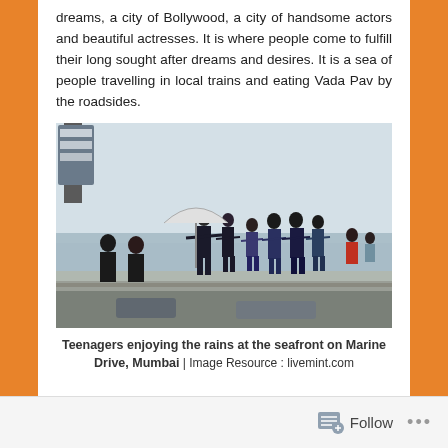dreams, a city of Bollywood, a city of handsome actors and beautiful actresses. It is where people come to fulfill their long sought after dreams and desires. It is a sea of people travelling in local trains and eating Vada Pav by the roadsides.
[Figure (photo): Teenagers walking along the seafront promenade at Marine Drive, Mumbai, in the rain. Several young people are walking in a line holding hands, with the sea visible in the background. Some people with umbrellas are visible on the left.]
Teenagers enjoying the rains at the seafront on Marine Drive, Mumbai | Image Resource : livemint.com